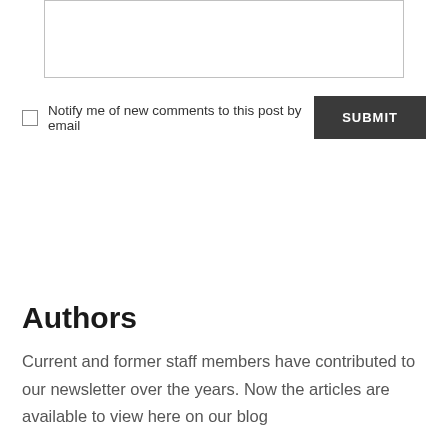[textarea input box]
Notify me of new comments to this post by email
SUBMIT
Authors
Current and former staff members have contributed to our newsletter over the years. Now the articles are available to view here on our blog